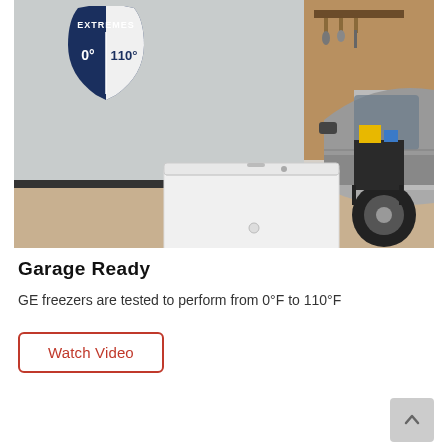[Figure (photo): A white GE chest freezer sitting in a garage next to a car, with a shield badge overlay showing 'EXTREMES 0° 110°' on the wall behind it.]
Garage Ready
GE freezers are tested to perform from 0°F to 110°F
Watch Video